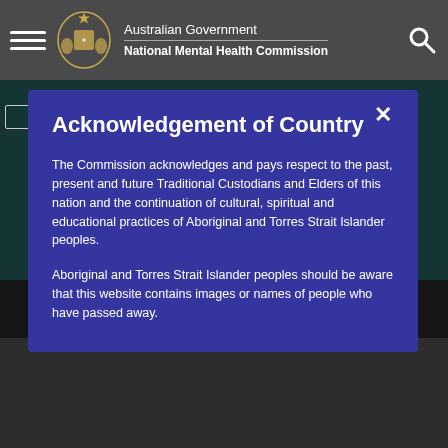Australian Government National Mental Health Commission
[Figure (logo): Australian Government coat of arms crest logo with hamburger menu icon on left and search icon on right]
Acknowledgement of Country
The Commission acknowledges and pays respect to the past, present and future Traditional Custodians and Elders of this nation and the continuation of cultural, spiritual and educational practices of Aboriginal and Torres Strait Islander peoples.
Aboriginal and Torres Strait Islander peoples should be aware that this website contains images or names of people who have passed away.